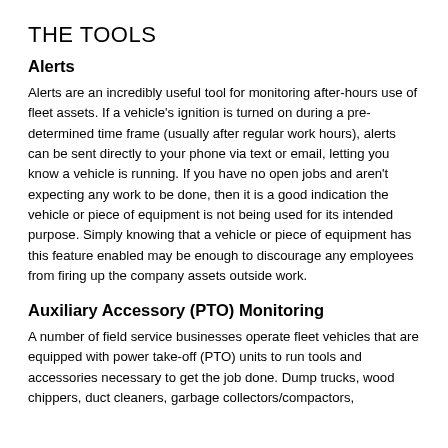THE TOOLS
Alerts
Alerts are an incredibly useful tool for monitoring after-hours use of fleet assets. If a vehicle's ignition is turned on during a pre-determined time frame (usually after regular work hours), alerts can be sent directly to your phone via text or email, letting you know a vehicle is running. If you have no open jobs and aren't expecting any work to be done, then it is a good indication the vehicle or piece of equipment is not being used for its intended purpose. Simply knowing that a vehicle or piece of equipment has this feature enabled may be enough to discourage any employees from firing up the company assets outside work.
Auxiliary Accessory (PTO) Monitoring
A number of field service businesses operate fleet vehicles that are equipped with power take-off (PTO) units to run tools and accessories necessary to get the job done. Dump trucks, wood chippers, duct cleaners, garbage collectors/compactors,